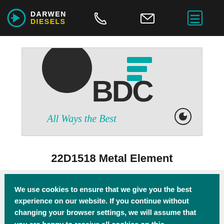Darwen Diesels header with logo, phone, email, and menu icons
[Figure (photo): Product image showing a BDC branded item with dark circular object, teal BDC letters, teal lines, tagline 'All Ways the Best' in italic teal, and a stylized eye icon]
22D1518 Metal Element
We use cookies to ensure that we give you the best experience on our website. If you continue without changing your browser settings, we will assume that you are happy to receive all cookies on this website.  Learn more
Got it!